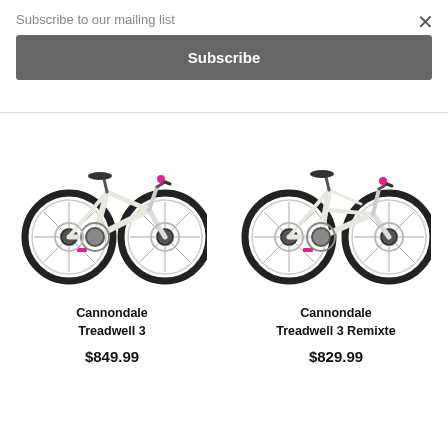Subscribe to our mailing list
Subscribe
[Figure (photo): Cannondale Treadwell 3 bicycle in white with pink accents]
Cannondale Treadwell 3
$849.99
[Figure (photo): Cannondale Treadwell 3 Remixte bicycle in white with pink accents]
Cannondale Treadwell 3 Remixte
$829.99